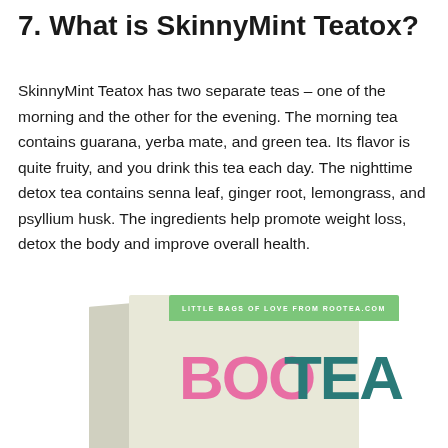7. What is SkinnyMint Teatox?
SkinnyMint Teatox has two separate teas – one of the morning and the other for the evening. The morning tea contains guarana, yerba mate, and green tea. Its flavor is quite fruity, and you drink this tea each day. The nighttime detox tea contains senna leaf, ginger root, lemongrass, and psyllium husk. The ingredients help promote weight loss, detox the body and improve overall health.
[Figure (photo): A product box for BOOTEA tea. The box has a light cream/beige color with a green banner at the top reading 'LITTLE BAGS OF LOVE FROM ROOTEA.COM'. The word 'BOO' is displayed in large pink letters and 'TEA' in large teal letters with a small leaf icon, forming the brand name BOOTEA.]